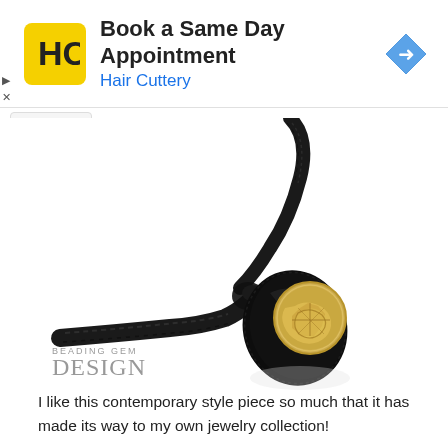[Figure (screenshot): Advertisement banner for Hair Cuttery: 'Book a Same Day Appointment' with HC logo and navigation arrow icon]
[Figure (photo): Close-up photo of a contemporary jewelry piece: a black cord/leather necklace with a dark teardrop-shaped pendant holding a circular gold/silver hammered metal coin or button, against white background. Watermark reads 'BEADING GEM DESIGN' in lower left.]
I like this contemporary style piece so much that it has made its way to my own jewelry collection!